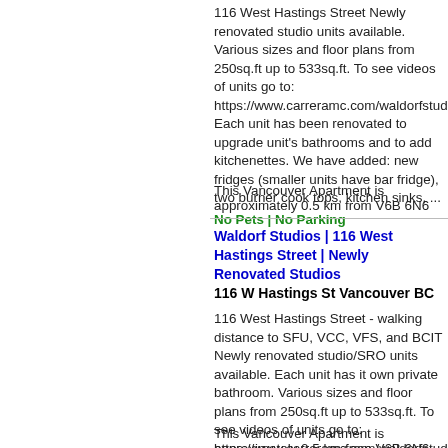116 West Hastings Street Newly renovated studio units available. Various sizes and floor plans from 250sq.ft up to 533sq.ft. To see videos of units go to: https://www.carreramc.com/waldorfstudios Each unit has been renovated to upgrade unit's bathrooms and to add kitchenettes. We have added: new fridges (smaller units have bar fridge), two burner cook tops, kitchen sinks, ...
No Pets | No Parking
This Vancouver Apartment is approximately 0.5 km from V6B 6N6
Waldorf Studios | 116 West Hastings Street | Newly Renovated Studios
116 W Hastings St Vancouver BC
116 West Hastings Street - walking distance to SFU, VCC, VFS, and BCIT Newly renovated studio/SRO units available. Each unit has it own private bathroom. Various sizes and floor plans from 250sq.ft up to 533sq.ft. To see videos of units go to: https://www.carreramc.com/waldorfstudios Each unit has been renovated to upgrade unit's bathrooms and to add kitchenettes. We have added: ...
Unfurnished | No Pets | No Parking
This Vancouver Apartment is approximately 0.5 km from V6B 6N6